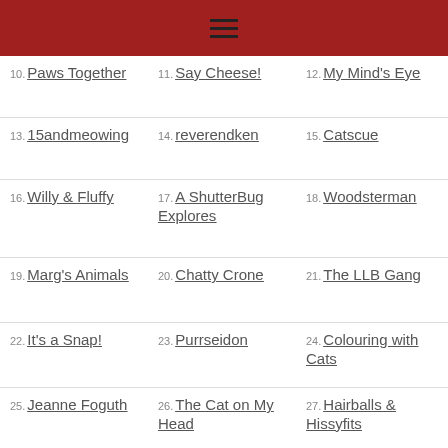≡
10. Paws Together
11. Say Cheese!
12. My Mind's Eye
13. 15andmeowing
14. reverendken
15. Catscue
16. Willy & Fluffy
17. A ShutterBug Explores
18. Woodsterman
19. Marg's Animals
20. Chatty Crone
21. The LLB Gang
22. It's a Snap!
23. Purrseidon
24. Colouring with Cats
25. Jeanne Foguth
26. The Cat on My Head
27. Hairballs & Hissyfits
28. Brian's Home
29. I'm sorry
30. Curious as a Cathy
31. Ann & Presley
32. Xmas Dolly
33. Caren & Cody
34. Dakota's Den
35. Ruby the Airedale
36. Molly Monday
37. Catblogosphere
38. Island Cats
39. Cat Wisdom 101